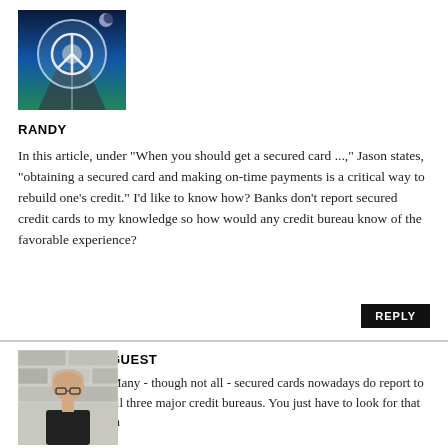[Figure (photo): Avatar image of commenter Randy — a stylized peace sign globe with sky and road background]
RANDY
In this article, under "When you should get a secured card ...," Jason states, "obtaining a secured card and making on-time payments is a critical way to rebuild one's credit." I'd like to know how? Banks don't report secured credit cards to my knowledge so how would any credit bureau know of the favorable experience?
[Figure (photo): Avatar image of commenter Guest — a young man with glasses against a brick wall background]
GUEST
Many - though not all - secured cards nowadays do report to all three major credit bureaus. You just have to look for that in